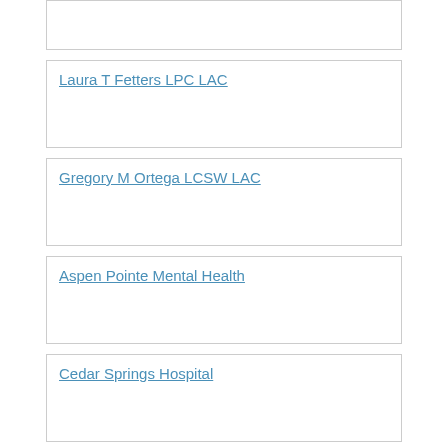Laura T Fetters LPC LAC
Gregory M Ortega LCSW LAC
Aspen Pointe Mental Health
Cedar Springs Hospital
AspenPointe